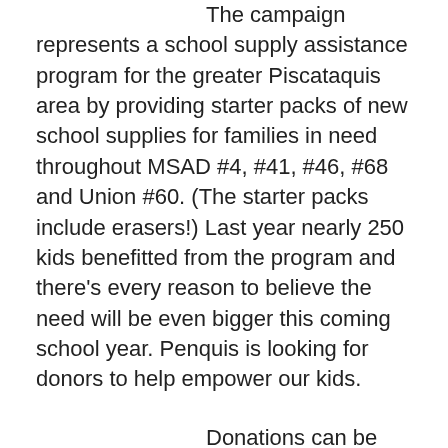The campaign represents a school supply assistance program for the greater Piscataquis area by providing starter packs of new school supplies for families in need throughout MSAD #4, #41, #46, #68 and Union #60. (The starter packs include erasers!) Last year nearly 250 kids benefitted from the program and there's every reason to believe the need will be even bigger this coming school year. Penquis is looking for donors to help empower our kids.
Donations can be money or specific items. There are lots of options! You can “back to school” shop for a specific starter kit or just some items… you can pick which district your donation will go to and even decide whether you want to help at the elementary, middle or high school level. Penquis is working really hard to make it easy for us to help. Look for drop boxes around the area